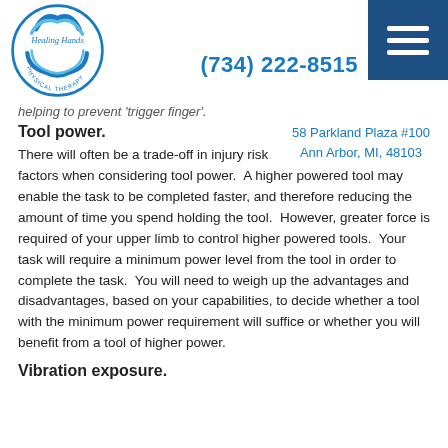Healing Hands Physical Therapy — (734) 222-8515
helping to prevent 'trigger finger'.
58 Parkland Plaza #100
Ann Arbor, MI, 48103
Tool power.
There will often be a trade-off in injury risk factors when considering tool power.  A higher powered tool may enable the task to be completed faster, and therefore reducing the amount of time you spend holding the tool.  However, greater force is required of your upper limb to control higher powered tools.  Your task will require a minimum power level from the tool in order to complete the task.  You will need to weigh up the advantages and disadvantages, based on your capabilities, to decide whether a tool with the minimum power requirement will suffice or whether you will benefit from a tool of higher power.
Vibration exposure.